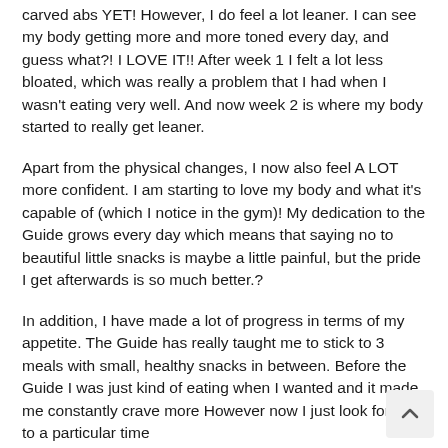carved abs YET! However, I do feel a lot leaner. I can see my body getting more and more toned every day, and guess what?! I LOVE IT!! After week 1 I felt a lot less bloated, which was really a problem that I had when I wasn't eating very well. And now week 2 is where my body started to really get leaner.
Apart from the physical changes, I now also feel A LOT more confident. I am starting to love my body and what it's capable of (which I notice in the gym)! My dedication to the Guide grows every day which means that saying no to beautiful little snacks is maybe a little painful, but the pride I get afterwards is so much better.?
In addition, I have made a lot of progress in terms of my appetite. The Guide has really taught me to stick to 3 meals with small, healthy snacks in between. Before the Guide I was just kind of eating when I wanted and it made me constantly crave more However now I just look forward to a particular time